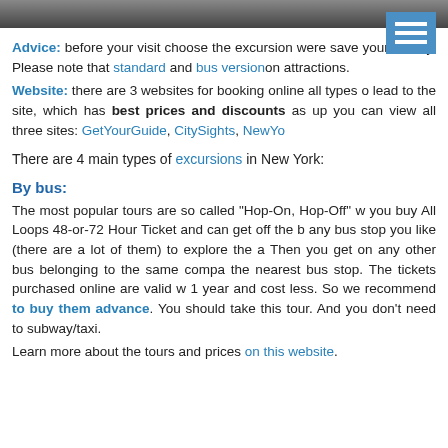[Figure (photo): Partial photo strip at top of page showing a cropped outdoor/city scene]
Advice: before your visit choose the excursion where you can save your money. Please note that standard and bus version attractions.
Website: there are 3 websites for booking online all types of lead to the site, which has best prices and discounts as up you can view all three sites: GetYourGuide, CitySights, NewYo
There are 4 main types of excursions in New York:
By bus:
The most popular tours are so called "Hop-On, Hop-Off" w you buy All Loops 48-or-72 Hour Ticket and can get off the b any bus stop you like (there are a lot of them) to explore the a Then you get on any other bus belonging to the same comp the nearest bus stop. The tickets purchased online are valid w 1 year and cost less. So we recommend to buy them advance. You should take this tour. And you don't need to subway/taxi.
Learn more about the tours and prices on this website.